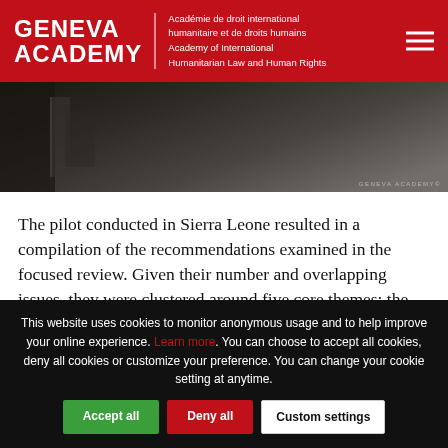GENEVA ACADEMY | Académie de droit international humanitaire et de droits humains | Academy of International Humanitarian Law and Human Rights
[Figure (photo): Dark photograph of laboratory or medical equipment in a room, with dark overlay. Geneva Academy watermark in bottom right.]
The pilot conducted in Sierra Leone resulted in a compilation of the recommendations examined in the focused review. Given their number and overlapping issues, they were clustered around five core themes: the prohibition of torture and ill-treatment, pretrial detention, women's access to health, gender equality and children's rights.
This website uses cookies to monitor anonymous usage and to help improve your online experience. Learn more. You can choose to accept all cookies, deny all cookies or customize your preference. You can change your cookie setting at anytime.